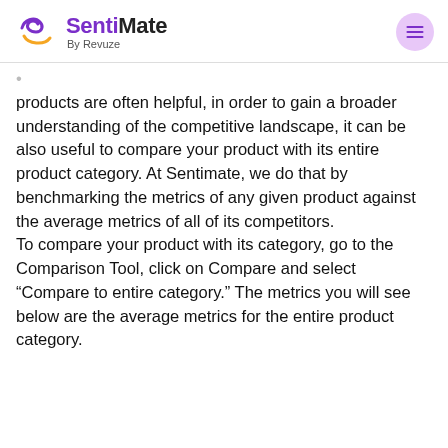SentiMate By Revuze
products are often helpful, in order to gain a broader understanding of the competitive landscape, it can be also useful to compare your product with its entire product category. At Sentimate, we do that by benchmarking the metrics of any given product against the average metrics of all of its competitors. To compare your product with its category, go to the Comparison Tool, click on Compare and select “Compare to entire category.” The metrics you will see below are the average metrics for the entire product category.